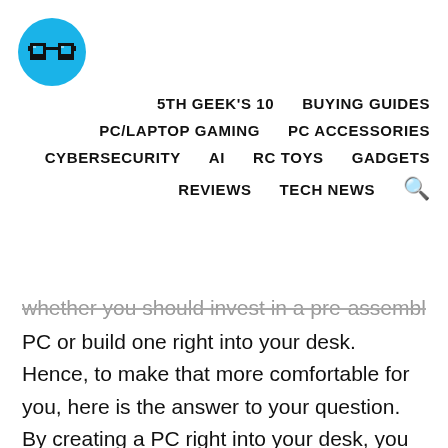[Figure (logo): Blue circle with pixel-art glasses icon (5th Geek website logo)]
5TH GEEK'S 10   BUYING GUIDES
PC/LAPTOP GAMING   PC ACCESSORIES
CYBERSECURITY   AI   RC TOYS   GADGETS
REVIEWS   TECH NEWS 🔍
whether you should invest in a pre-assembled PC or build one right into your desk. Hence, to make that more comfortable for you, here is the answer to your question. By creating a PC right into your desk, you are availing yourself of a